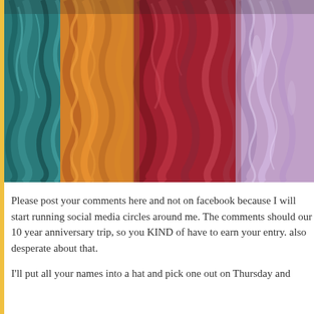[Figure (photo): Close-up photograph of colorful yarn or fiber strands in teal/blue, golden-yellow/orange, deep red/crimson, and lavender/light purple colors, arranged side by side showing texture of braided or knitted fibers.]
Please post your comments here and not on facebook because I will start running social media circles around me.  The comments should our 10 year anniversary trip, so you KIND of have to earn your entry. also desperate about that.
I'll put all your names into a hat and pick one out on Thursday and